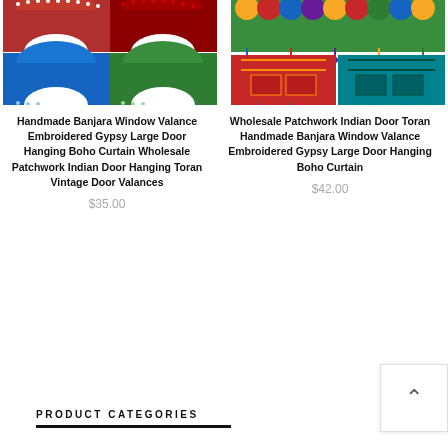[Figure (photo): Product image of Handmade Banjara Window Valance door hanging items in red, blue, and green colors]
[Figure (photo): Product image of Wholesale Patchwork Indian Door Toran items in green and multi-color]
Handmade Banjara Window Valance Embroidered Gypsy Large Door Hanging Boho Curtain Wholesale Patchwork Indian Door Hanging Toran Vintage Door Valances
$35.00
Wholesale Patchwork Indian Door Toran Handmade Banjara Window Valance Embroidered Gypsy Large Door Hanging Boho Curtain
$42.00
PRODUCT CATEGORIES